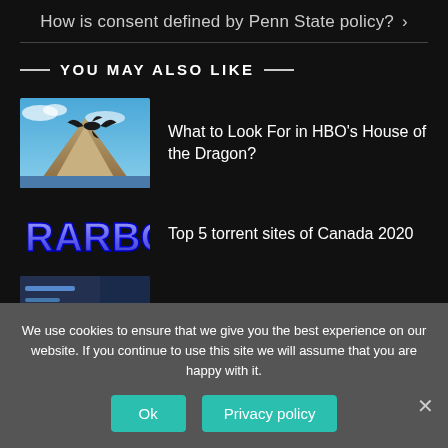How is consent defined by Penn State policy? >
YOU MAY ALSO LIKE
[Figure (photo): Thumbnail image showing a dragon flying over a mountain landscape for House of the Dragon article]
What to Look For in HBO’s House of the Dragon?
[Figure (logo): RARBG logo in blue text]
Top 5 torrent sites of Canada 2020
[Figure (photo): Partially visible thumbnail image at bottom]
We use cookies to ensure that we give you the best experience on our website. If you continue to use this site we will assume that you are happy with it.
Ok
Privacy policy